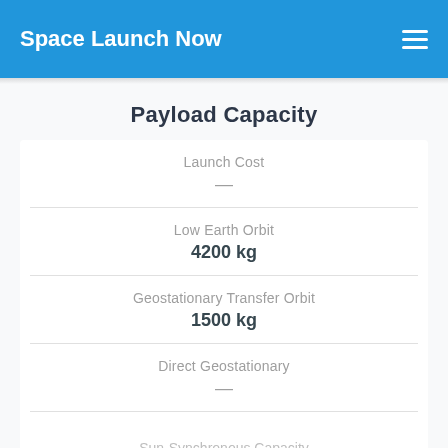Space Launch Now
Payload Capacity
Launch Cost
—
Low Earth Orbit
4200 kg
Geostationary Transfer Orbit
1500 kg
Direct Geostationary
—
Sun-Synchronous Capacity